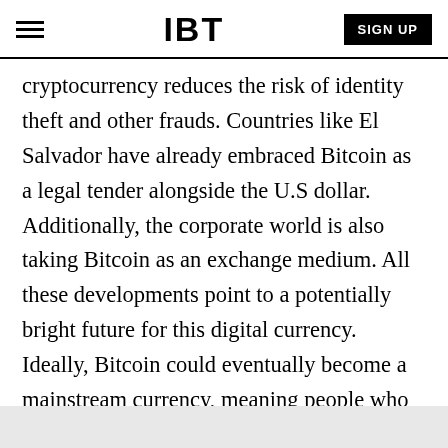IBT | SIGN UP
cryptocurrency reduces the risk of identity theft and other frauds. Countries like El Salvador have already embraced Bitcoin as a legal tender alongside the U.S dollar. Additionally, the corporate world is also taking Bitcoin as an exchange medium. All these developments point to a potentially bright future for this digital currency. Ideally, Bitcoin could eventually become a mainstream currency, meaning people who invest in it now stand to reap significant returns in the future.